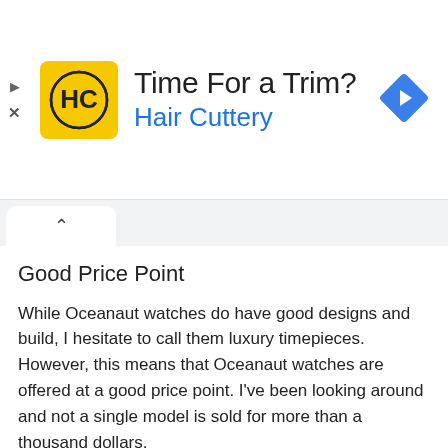[Figure (infographic): Hair Cuttery advertisement banner with HC logo on yellow background, heading 'Time For a Trim?', subheading 'Hair Cuttery' in blue, and a blue navigation diamond icon on the right. Play triangle and X close icons on the left edge.]
Good Price Point
While Oceanaut watches do have good designs and build, I hesitate to call them luxury timepieces. However, this means that Oceanaut watches are offered at a good price point. I've been looking around and not a single model is sold for more than a thousand dollars.
Conversely, except for a few entry-level watches, Oceanaut pieces aren't exactly cheap and are priced in the hundreds. You can even find some watches that are priced below $50. Although the price point is a boon for Oceanaut, it also proves to